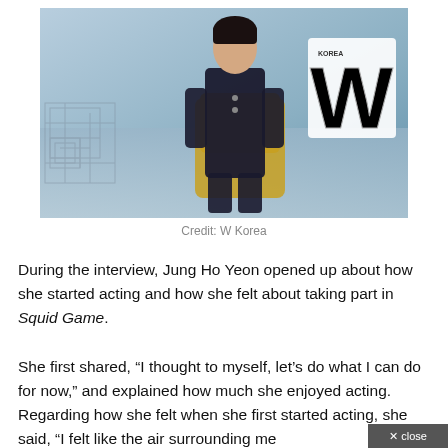[Figure (photo): Jung Ho Yeon seated in a yellow chair wearing a dark military-style outfit, with a maze-like background and a large 'W Korea' magazine logo in the upper right]
Credit: W Korea
During the interview, Jung Ho Yeon opened up about how she started acting and how she felt about taking part in Squid Game.
She first shared, “I thought to myself, let’s do what I can do for now,” and explained how much she enjoyed acting. Regarding how she felt when she first started acting, she said, “I felt like the air surrounding me